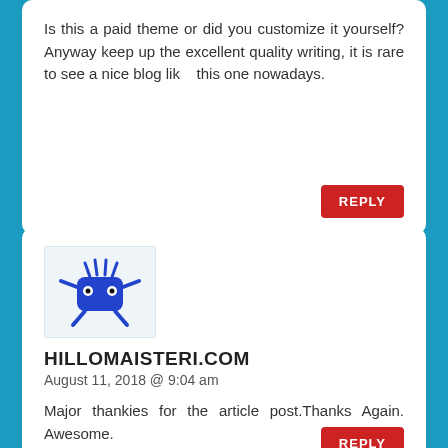Is this a paid theme or did you customize it yourself? Anyway keep up the excellent quality writing, it is rare to see a nice blog lik    this one nowadays.
REPLY
[Figure (illustration): Blue cartoon monster character avatar with spiky hair, round eyes, and spread arms and legs on light blue background]
HILLOMAISTERI.COM
August 11, 2018 @ 9:04 am
Major thankies for the article post.Thanks Again. Awesome.
REPLY